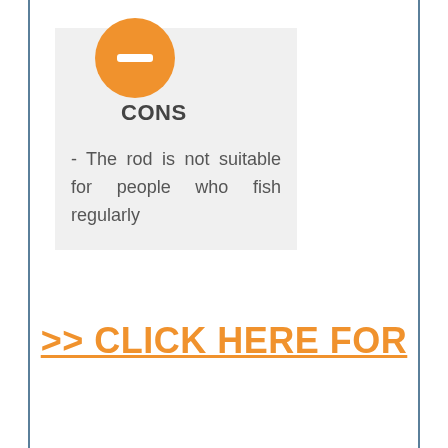[Figure (infographic): Orange circle with white minus/dash bar inside, representing a 'cons' icon]
CONS
- The rod is not suitable for people who fish regularly
>> CLICK HERE FOR